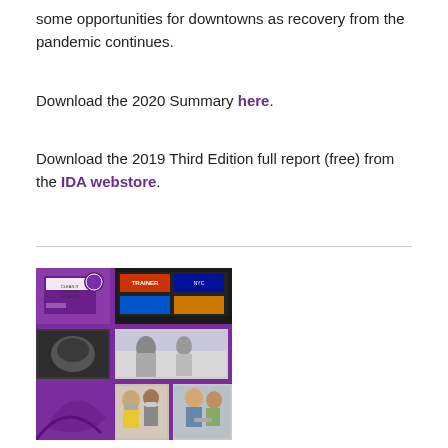some opportunities for downtowns as recovery from the pandemic continues.
Download the 2020 Summary here.
Download the 2019 Third Edition full report (free) from the IDA webstore.
[Figure (photo): A purple-themed collage of photos showing people wearing masks and engaging in downtown activities during the pandemic, along with promotional graphics.]